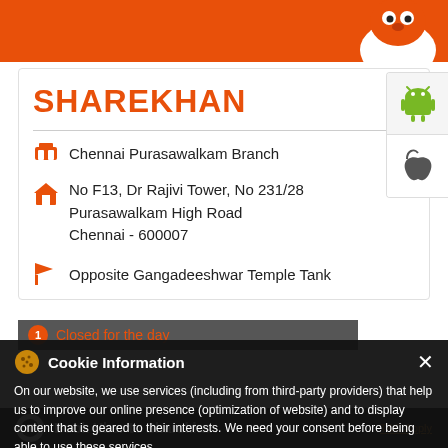Sharekhan header bar with mascot
SHAREKHAN
Chennai Purasawalkam Branch
No F13, Dr Rajivi Tower, No 231/28 Purasawalkam High Road Chennai - 600007
Opposite Gangadeeshwar Temple Tank
Closed for the day
Cookie Information
On our website, we use services (including from third-party providers) that help us to improve our online presence (optimization of website) and to display content that is geared to their interests. We need your consent before being able to use these services.
LOOKING FOR A BETTER DEMAT
Book Uber to Sharekhan
T&C Apply